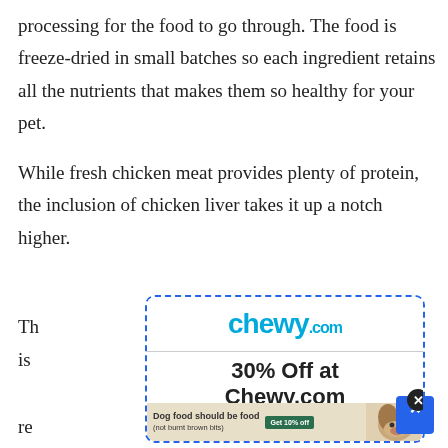processing for the food to go through. The food is freeze-dried in small batches so each ingredient retains all the nutrients that makes them so healthy for your pet.
While fresh chicken meat provides plenty of protein, the inclusion of chicken liver takes it up a notch higher.
This recipe has a
[Figure (other): Chewy.com advertisement box with dashed blue border showing the Chewy.com logo, '30% Off at Chewy.com', '+ Free Shipping', and a sub-banner for dog food with a bulldog image and a Get 10% off button.]